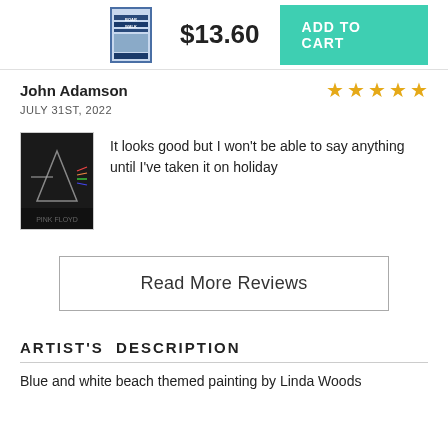[Figure (other): Product thumbnail showing a book/card with BOARDWALK text, price $13.60, and teal ADD TO CART button]
John Adamson
JULY 31ST, 2022
[Figure (photo): Pink Floyd Dark Side of the Moon style album art with prism and triangle on dark background]
It looks good but I won't be able to say anything until I've taken it on holiday
Read More Reviews
ARTIST'S DESCRIPTION
Blue and white beach themed painting by Linda Woods